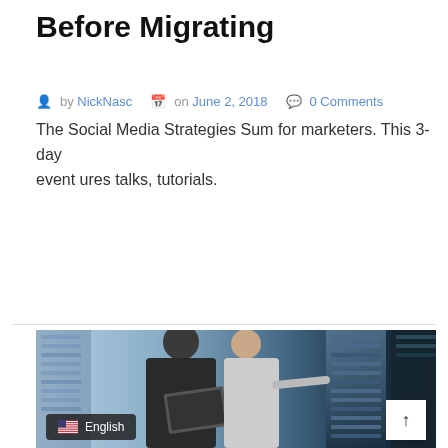What Should a Law Firm Know Before Migrating
by NickNasc   on June 2, 2018   0 Comments
The Social Media Strategies Sum for marketers. This 3-day event ures talks, tutorials.
READ MORE
[Figure (photo): Two IT professionals, a man in a suit holding a laptop and a woman in a white blouse, examining server racks in a data center. A language selector badge showing English with a US flag appears in the bottom left, and a scroll-to-top button appears in the bottom right.]